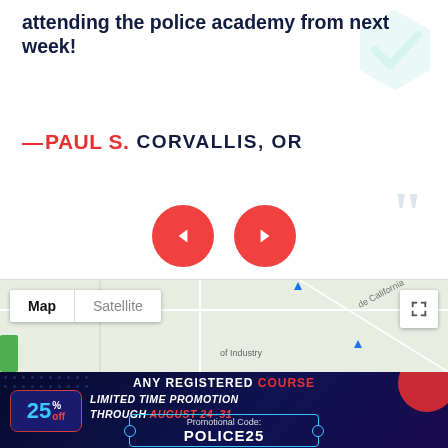attending the police academy from next week!
— PAUL S. CORVALLIS, OR
[Figure (screenshot): Google Maps embed showing map/satellite toggle controls and a street map with 'de California' road label and 'of Industry' label visible]
[Figure (infographic): Promotional banner: ANY REGISTERED COURSE - 25% off - LIMITED TIME PROMOTION THROUGH AUGUST 24-31 - Promotional Code: POLICE25]